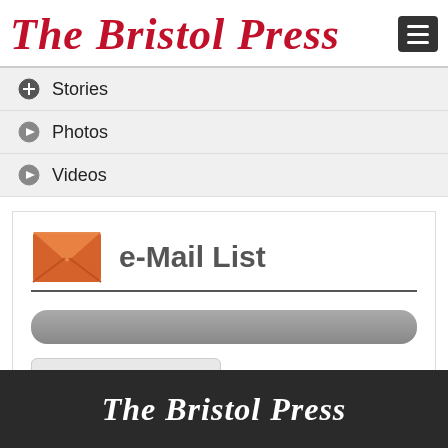The Bristol Press
Stories
Photos
Videos
e-Mail List
Manage Your Lists
The Bristol Press